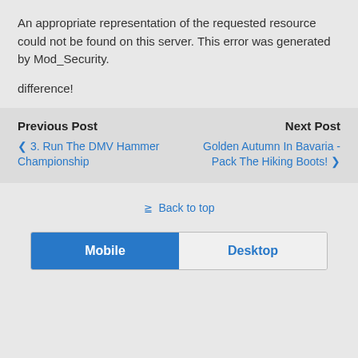An appropriate representation of the requested resource could not be found on this server. This error was generated by Mod_Security.
difference!
Previous Post
‹ 3. Run The DMV Hammer Championship
Next Post
Golden Autumn In Bavaria - Pack The Hiking Boots! ›
⁂ Back to top
Mobile  Desktop